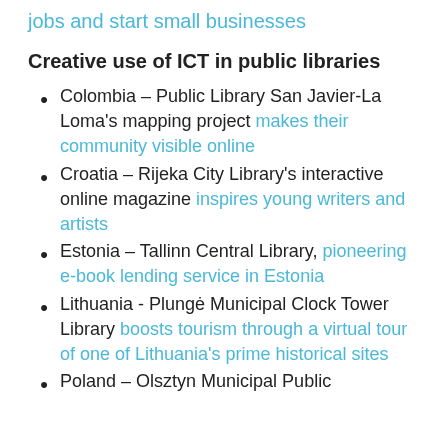jobs and start small businesses
Creative use of ICT in public libraries
Colombia – Public Library San Javier-La Loma's mapping project makes their community visible online
Croatia – Rijeka City Library's interactive online magazine inspires young writers and artists
Estonia – Tallinn Central Library, pioneering e-book lending service in Estonia
Lithuania - Plungė Municipal Clock Tower Library boosts tourism through a virtual tour of one of Lithuania's prime historical sites
Poland – Olsztyn Municipal Public